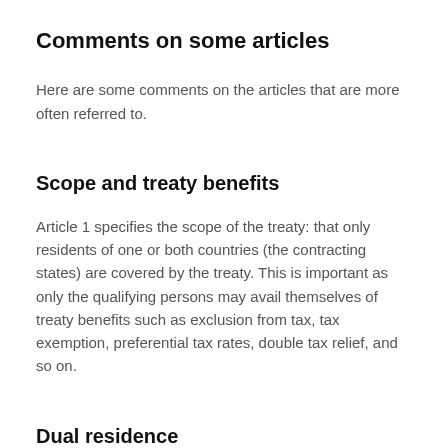Comments on some articles
Here are some comments on the articles that are more often referred to.
Scope and treaty benefits
Article 1 specifies the scope of the treaty: that only residents of one or both countries (the contracting states) are covered by the treaty. This is important as only the qualifying persons may avail themselves of treaty benefits such as exclusion from tax, tax exemption, preferential tax rates, double tax relief, and so on.
Dual residence